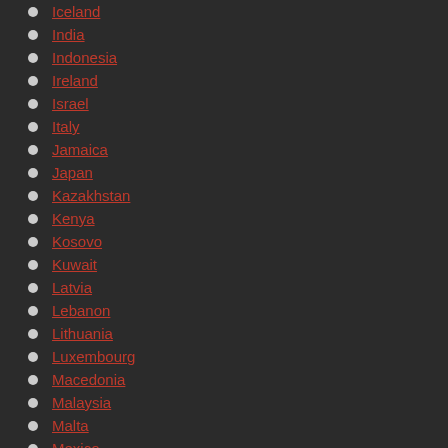Iceland
India
Indonesia
Ireland
Israel
Italy
Jamaica
Japan
Kazakhstan
Kenya
Kosovo
Kuwait
Latvia
Lebanon
Lithuania
Luxembourg
Macedonia
Malaysia
Malta
Mexico
Moldova
Monaco
Montenegro